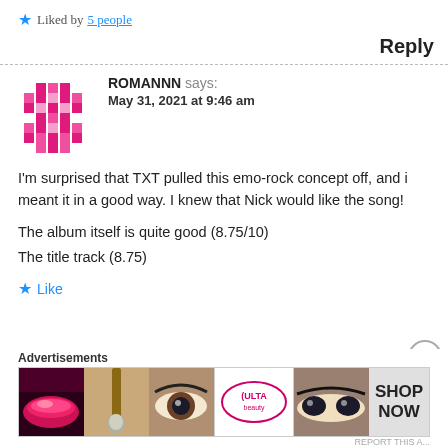★ Liked by 5 people
Reply
ROMANNN says:
May 31, 2021 at 9:46 am
I'm surprised that TXT pulled this emo-rock concept off, and i meant it in a good way. I knew that Nick would like the song!

The album itself is quite good (8.75/10)
The title track (8.75)
★ Like
[Figure (screenshot): Advertisement banner for ULTA Beauty showing makeup product photos with SHOP NOW button]